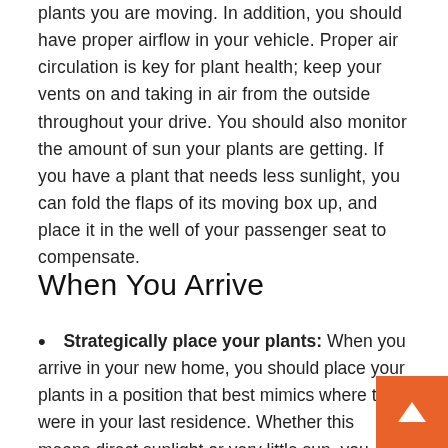plants you are moving. In addition, you should have proper airflow in your vehicle. Proper air circulation is key for plant health; keep your vents on and taking in air from the outside throughout your drive. You should also monitor the amount of sun your plants are getting. If you have a plant that needs less sunlight, you can fold the flaps of its moving box up, and place it in the well of your passenger seat to compensate.
When You Arrive
Strategically place your plants: When you arrive in your new home, you should place your plants in a position that best mimics where they were in your last residence. Whether this means direct sunlight or very little sun, you should make an effort to take care of this first thing.